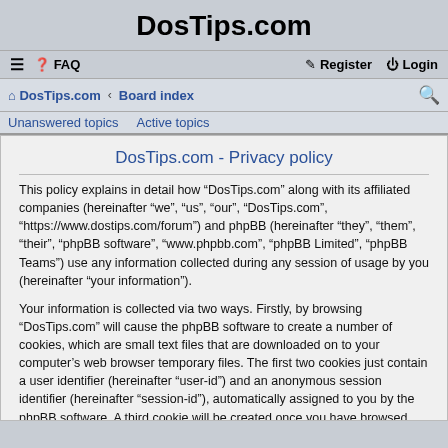DosTips.com
≡  FAQ    Register  Login
DosTips.com › Board index    [search]
Unanswered topics  Active topics
DosTips.com - Privacy policy
This policy explains in detail how “DosTips.com” along with its affiliated companies (hereinafter “we”, “us”, “our”, “DosTips.com”, “https://www.dostips.com/forum”) and phpBB (hereinafter “they”, “them”, “their”, “phpBB software”, “www.phpbb.com”, “phpBB Limited”, “phpBB Teams”) use any information collected during any session of usage by you (hereinafter “your information”).
Your information is collected via two ways. Firstly, by browsing “DosTips.com” will cause the phpBB software to create a number of cookies, which are small text files that are downloaded on to your computer’s web browser temporary files. The first two cookies just contain a user identifier (hereinafter “user-id”) and an anonymous session identifier (hereinafter “session-id”), automatically assigned to you by the phpBB software. A third cookie will be created once you have browsed topics within “DosTips.com” and is used to store which topics have been read, thereby improving your user experience.
We may also create cookies external to the phpBB software whilst browsing